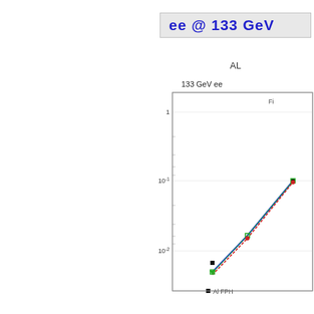ee @ 133 GeV
AL
[Figure (continuous-plot): Log-scale plot of 1/sigma d-sigma/d-ln(y_56) vs ln(y_56) for 133 GeV ee collisions. Shows data points (filled squares) and multiple theory curves (blue solid, red dashed, green dotted lines) converging at higher values. Legend label 'Al FPH' visible at bottom.]